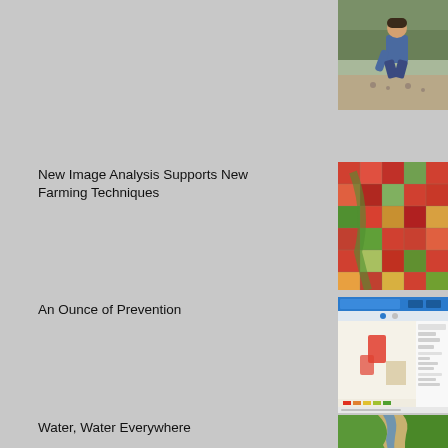[Figure (photo): Person crouching down examining soil or ground in an orchard/field area]
New Image Analysis Supports New Farming Techniques
[Figure (photo): Aerial/satellite image of agricultural fields showing grid pattern with red and green color variations indicating crop health]
An Ounce of Prevention
[Figure (screenshot): Screenshot of a web application or dashboard showing a map with highlighted regions in red/orange and data panels]
Water, Water Everywhere
[Figure (photo): Aerial photo of water/river area with green vegetation and sandy/brown ground]